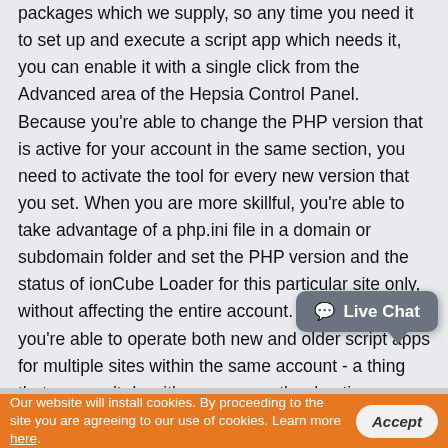packages which we supply, so any time you need it to set up and execute a script app which needs it, you can enable it with a single click from the Advanced area of the Hepsia Control Panel. Because you're able to change the PHP version that is active for your account in the same section, you need to activate the tool for every new version that you set. When you are more skillful, you're able to take advantage of a php.ini file in a domain or subdomain folder and set the PHP version and the status of ionCube Loader for this particular site only, without affecting the entire account. In this way you're able to operate both new and older script apps for multiple sites within the same account - a thing that you can't do with numerous other hosting providers available on the market.
[Figure (other): Live Chat button (speech bubble icon with 'Live Chat' text) in grey rounded rectangle]
Our website will install cookies. By proceeding to the site you are agreeing to our use of cookies. Learn more here.